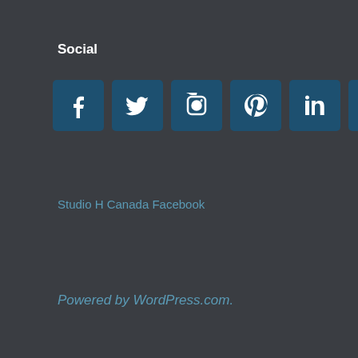Social
[Figure (infographic): Six social media icon buttons in dark teal rounded squares: Facebook, Twitter, Instagram, Pinterest, LinkedIn, YouTube]
Studio H Canada Facebook
Powered by WordPress.com.